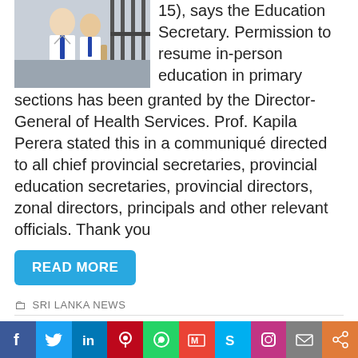[Figure (photo): School students in uniform standing near a gate]
15), says the Education Secretary. Permission to resume in-person education in primary sections has been granted by the Director-General of Health Services. Prof. Kapila Perera stated this in a communiqué directed to all chief provincial secretaries, provincial education secretaries, provincial directors, zonal directors, principals and other relevant officials. Thank you
READ MORE
SRI LANKA NEWS
Jurgen Klopp: Liverpool boss plays down Man Utd's defensive problems ahead of Old Trafford clash | Football News